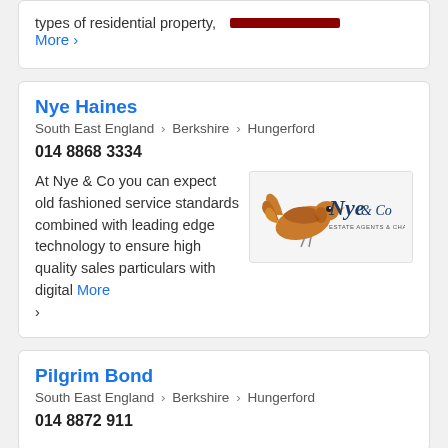types of residential property, More ›
Nye Haines
South East England › Berkshire › Hungerford
014 8868 3334
At Nye & Co you can expect old fashioned service standards combined with leading edge technology to ensure high quality sales particulars with digital More ›
[Figure (logo): Nye & Co Estate Agents & Chartered logo with orange pheasant bird illustration]
Pilgrim Bond
South East England › Berkshire › Hungerford
014 8872 911